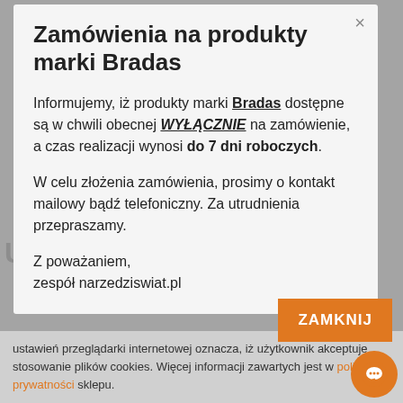Zamówienia na produkty marki Bradas
Informujemy, iż produkty marki Bradas dostępne są w chwili obecnej WYŁĄCZNIE na zamówienie, a czas realizacji wynosi do 7 dni roboczych.
W celu złożenia zamówienia, prosimy o kontakt mailowy bądź telefoniczny. Za utrudnienia przepraszamy.
Z poważaniem,
zespół narzedziswiat.pl
ustawień przeglądarki internetowej oznacza, iż użytkownik akceptuje stosowanie plików cookies. Więcej informacji zawartych jest w polityce prywatności sklepu.